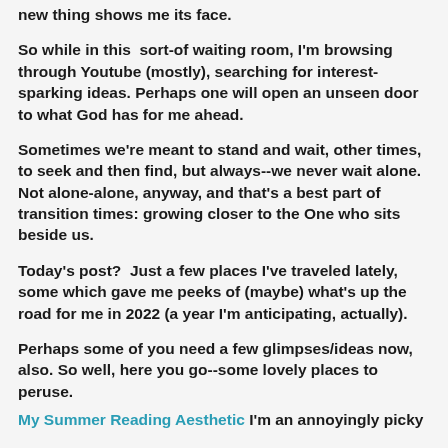new thing shows me its face.
So while in this  sort-of waiting room, I'm browsing through Youtube (mostly), searching for interest-sparking ideas. Perhaps one will open an unseen door to what God has for me ahead.
Sometimes we're meant to stand and wait, other times, to seek and then find, but always--we never wait alone. Not alone-alone, anyway, and that's a best part of transition times: growing closer to the One who sits beside us.
Today's post?  Just a few places I've traveled lately, some which gave me peeks of (maybe) what's up the road for me in 2022 (a year I'm anticipating, actually).
Perhaps some of you need a few glimpses/ideas now, also. So well, here you go--some lovely places to peruse.
My Summer Reading Aesthetic  I'm an annoyingly picky